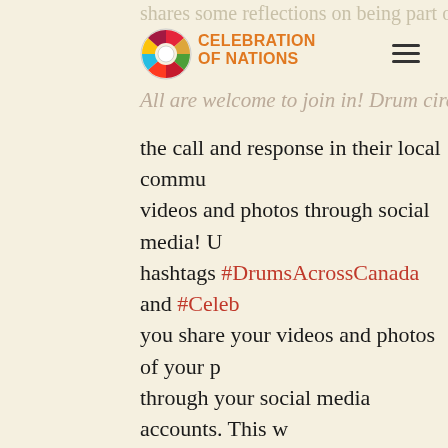CELEBRATION OF NATIONS
shares some reflections on being part of... All are welcome to join in! Drum circles ac... the call and response in their local commu... videos and photos through social media! U... hashtags #DrumsAcrossCanada and #Celeb... you share your videos and photos of your p... through your social media accounts. This w... search and share your experience! A social ... available to provide more information.
Drums Across Canada is the vision of Celeb... Artistic Director Michele Elise Burnett (Mét... Clan) and collaborators Angela DeMontigny... Sewell Malone (Mi'kmaw), and Erin Moragha...